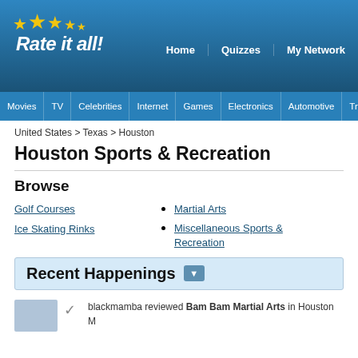Rate it all! | Home | Quizzes | My Network
Movies | TV | Celebrities | Internet | Games | Electronics | Automotive | Travel | Food
United States > Texas > Houston
Houston Sports & Recreation
Browse
Golf Courses
Ice Skating Rinks
Martial Arts
Miscellaneous Sports & Recreation
Recent Happenings
blackmamba reviewed Bam Bam Martial Arts in Houston M...